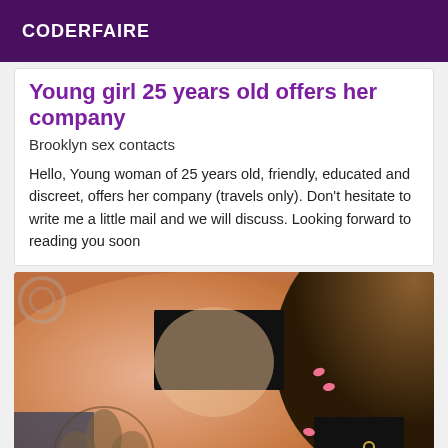CODERFAIRE
Young girl 25 years old offers her company
Brooklyn sex contacts
Hello, Young woman of 25 years old, friendly, educated and discreet, offers her company (travels only). Don't hesitate to write me a little mail and we will discuss. Looking forward to reading you soon
[Figure (photo): A photo of a woman with tattoos, with black censorship marks covering certain areas]